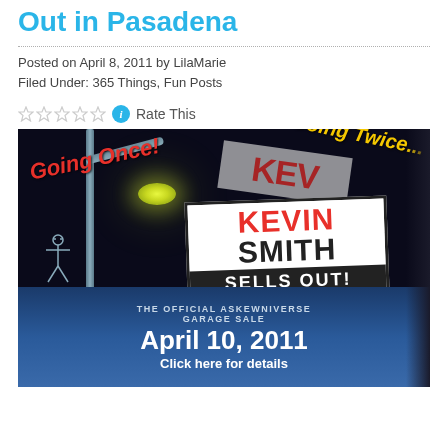Out in Pasadena
Posted on April 8, 2011 by LilaMarie
Filed Under: 365 Things, Fun Posts
Rate This
[Figure (illustration): Promotional image for Kevin Smith Sells Out - The Official Askewniverse Garage Sale, April 10, 2011. Dark night scene with street lamp, 'Going Once!' in red italic text, 'Going Twice...' in yellow italic text, a white sign reading KEVIN SMITH SELLS OUT!, and bottom text reading THE OFFICIAL ASKEWNIVERSE GARAGE SALE April 10, 2011 Click here for details]